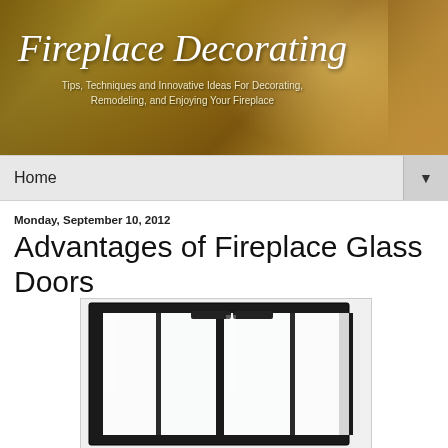[Figure (illustration): Fireplace Decorating blog header banner with golden/brown gradient background showing a decorated fireplace mantel scene on the right, with italic script title text and subtitle overlay]
Home ▼
Monday, September 10, 2012
Advantages of Fireplace Glass Doors
[Figure (photo): Photograph of a black-framed fireplace glass door set with four bi-fold glass panels, shown against a white background]